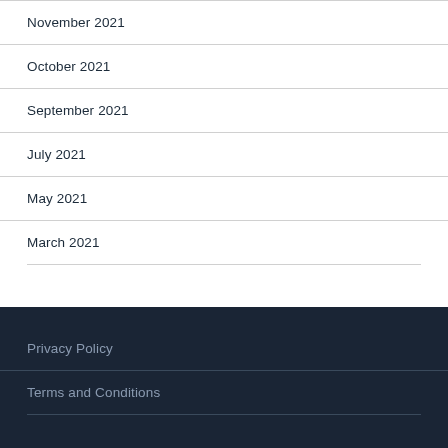November 2021
October 2021
September 2021
July 2021
May 2021
March 2021
Privacy Policy
Terms and Conditions